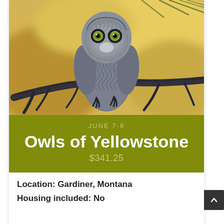[Figure (photo): A great grey owl perched on a bare branch against a blurred warm golden/yellow background with pine needles visible at top right. The owl faces forward with striking yellow-green eyes.]
JUNE 7-8
Owls of Yellowstone
$341.25
Location: Gardiner, Montana
Housing included: No